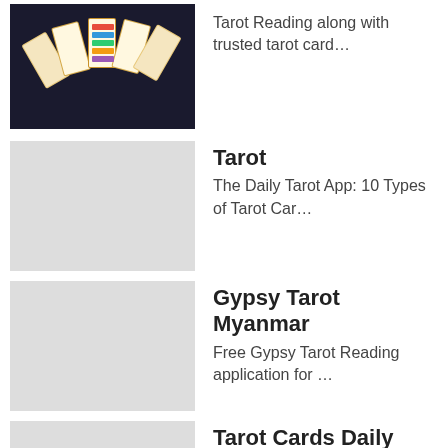[Figure (photo): Tarot cards fan image with colorful cards on dark background]
Tarot Reading along with trusted tarot card…
[Figure (photo): Gray placeholder thumbnail for Tarot app]
Tarot
The Daily Tarot App: 10 Types of Tarot Car…
[Figure (photo): Gray placeholder thumbnail for Gypsy Tarot Myanmar app]
Gypsy Tarot Myanmar
Free Gypsy Tarot Reading application for …
[Figure (photo): Gray placeholder thumbnail for Tarot Cards Daily Reading app]
Tarot Cards Daily Reading
Tarot cards readings. Love, Money, Future…
Comments